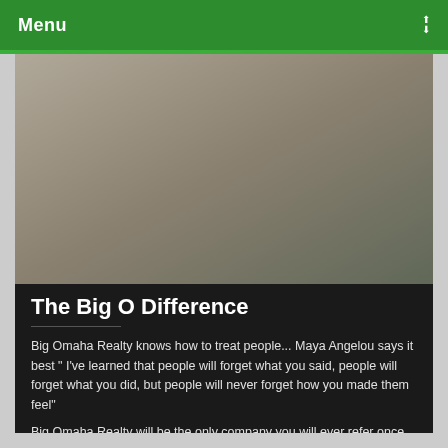Menu
[Figure (photo): A man in a suit sitting on stairs next to a small dog, with a real estate sign showing 'SOLD' and 'Van Bob's BIG Omaha REALTY 402.680.8448 CALL: VAN 402.680.8448']
The Big O Difference
Big Omaha Realty knows how to treat people... Maya Angelou says it best " I've learned that people will forget what you said, people will forget what you did, but people will never forget how you made them feel"
Big Omaha Realty will be the only company you will ever refer once you have experienced our service ... guaranteed.